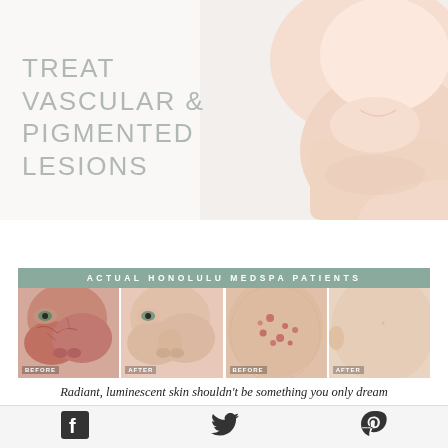[Figure (photo): Close-up photo of a woman's lower face and neck showing clear, smooth skin on a white/light grey background]
TREAT VASCULAR & PIGMENTED LESIONS
[Figure (photo): Before and after comparison photos of actual Honolulu MedSpa patients showing vascular and pigmented lesion treatment results. Four panels: before/after showing redness reduction, and before/after showing pigmented lesion/acne reduction.]
ACTUAL HONOLULU MEDSPA PATIENTS
Radiant, luminescent skin shouldn't be something you only dream
[Figure (logo): Facebook logo icon]
[Figure (logo): Twitter/X bird logo icon]
[Figure (logo): Pinterest P logo icon]